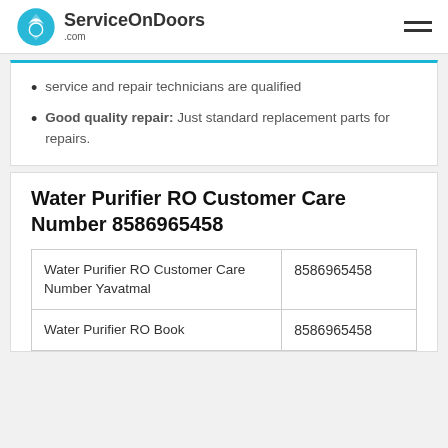ServiceOnDoors.com
service and repair technicians are qualified
Good quality repair: Just standard replacement parts for repairs.
Water Purifier RO Customer Care Number 8586965458
|  |  |
| --- | --- |
| Water Purifier RO Customer Care Number Yavatmal | 8586965458 |
| Water Purifier RO Book | 8586965458 |